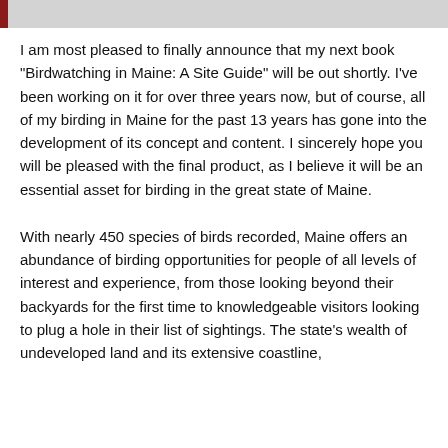[Figure (other): Dark red and gray header bar at top of page]
I am most pleased to finally announce that my next book “Birdwatching in Maine: A Site Guide” will be out shortly. I’ve been working on it for over three years now, but of course, all of my birding in Maine for the past 13 years has gone into the development of its concept and content. I sincerely hope you will be pleased with the final product, as I believe it will be an essential asset for birding in the great state of Maine.
With nearly 450 species of birds recorded, Maine offers an abundance of birding opportunities for people of all levels of interest and experience, from those looking beyond their backyards for the first time to knowledgeable visitors looking to plug a hole in their list of sightings. The state’s wealth of undeveloped land and its extensive coastline,